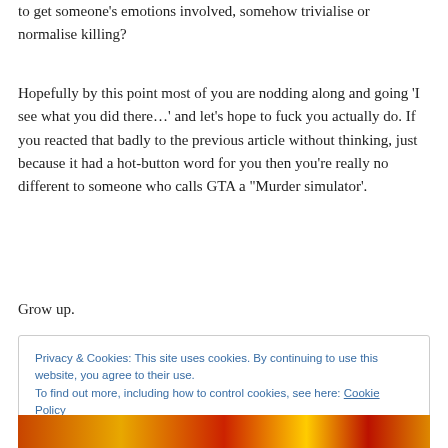to get someone's emotions involved, somehow trivialise or normalise killing?
Hopefully by this point most of you are nodding along and going 'I see what you did there…' and let's hope to fuck you actually do. If you reacted that badly to the previous article without thinking, just because it had a hot-button word for you then you're really no different to someone who calls GTA a "Murder simulator'.
Grow up.
Privacy & Cookies: This site uses cookies. By continuing to use this website, you agree to their use.
To find out more, including how to control cookies, see here: Cookie Policy
[Figure (photo): A colorful strip image at the bottom with red, yellow, and orange tones]